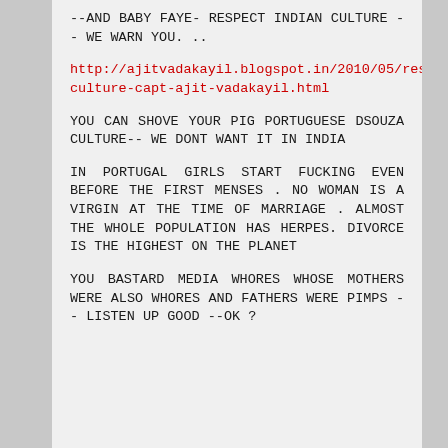--AND BABY FAYE- RESPECT INDIAN CULTURE -- WE WARN YOU. ..
http://ajitvadakayil.blogspot.in/2010/05/respect-culture-capt-ajit-vadakayil.html
YOU CAN SHOVE YOUR PIG PORTUGUESE DSOUZA CULTURE-- WE DONT WANT IT IN INDIA
IN PORTUGAL GIRLS START FUCKING EVEN BEFORE THE FIRST MENSES . NO WOMAN IS A VIRGIN AT THE TIME OF MARRIAGE . ALMOST THE WHOLE POPULATION HAS HERPES. DIVORCE IS THE HIGHEST ON THE PLANET
YOU BASTARD MEDIA WHORES WHOSE MOTHERS WERE ALSO WHORES AND FATHERS WERE PIMPS -- LISTEN UP GOOD --OK ?